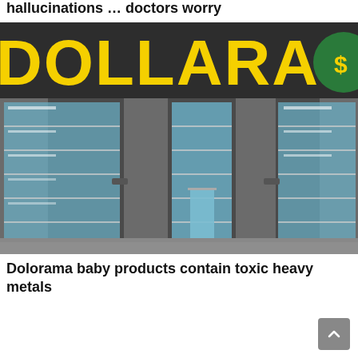hallucinations … doctors worry
[Figure (photo): Exterior photograph of a Dollarama store showing the yellow store sign on a dark background facade, with large glass windows and interior lighting visible]
Dolorama baby products contain toxic heavy metals